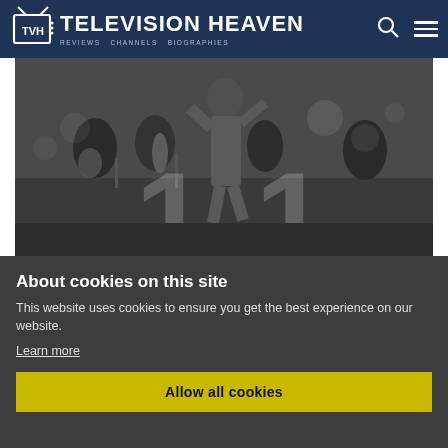TELEVISION HEAVEN
[Figure (photo): Black and white photograph of a performer on stage with a band/orchestra in the background, large decorative number '1' visible in the foreground]
About cookies on this site
This website uses cookies to ensure you get the best experience on our website.
Learn more
Allow all cookies